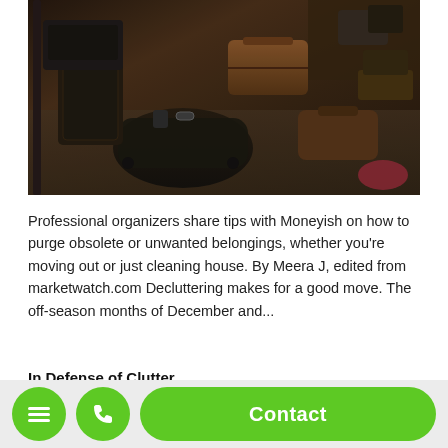[Figure (photo): Cluttered room with vintage luggage, bags, and various items piled on the floor and furniture in a dark, crowded space.]
Professional organizers share tips with Moneyish on how to purge obsolete or unwanted belongings, whether you're moving out or just cleaning house. By Meera J, edited from marketwatch.com Decluttering makes for a good move. The off-season months of December and...
In Defense of Clutter
Jan 18, 2019 | Home Organizing, Personal Organizing, Simple Living
[Figure (screenshot): Mobile app bottom navigation bar with green circular menu button, green circular phone button, and a large green Contact button.]